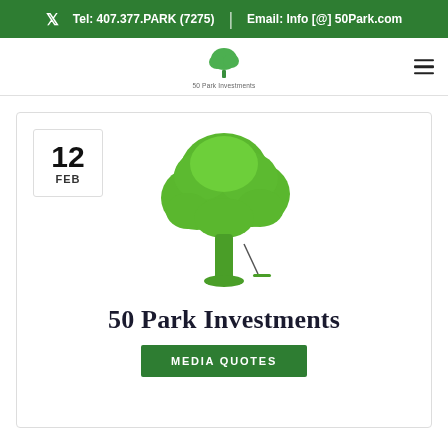Tel: 407.377.PARK (7275) | Email: Info [@] 50Park.com
[Figure (logo): 50 Park Investments tree logo with company name below]
12 FEB
[Figure (illustration): Large green tree illustration (50 Park Investments logo tree) centered in card]
50 Park Investments
MEDIA QUOTES